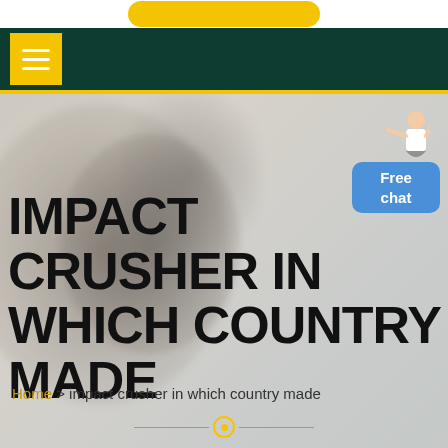[Figure (screenshot): Dark green navigation bar with yellow hamburger menu button and yellow accent line below]
IMPACT CRUSHER IN WHICH COUNTRY MADE
Home > impact crusher in which country made
[Figure (photo): Blurred background photo of industrial impact crusher machinery in grey tones with a chat assistant widget showing 'Free chat' in blue]
Free chat